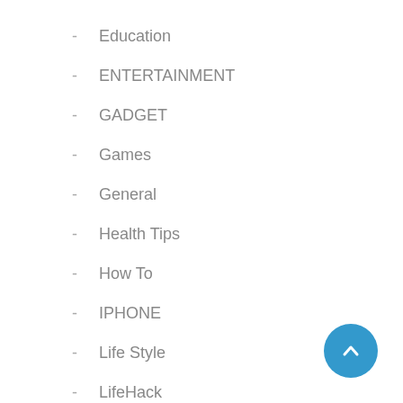- Education
- ENTERTAINMENT
- GADGET
- Games
- General
- Health Tips
- How To
- IPHONE
- Life Style
- LifeHack
- Magazine
- Mobile Tips